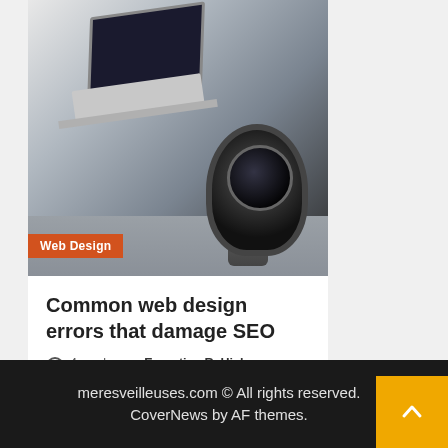[Figure (photo): Photo of a laptop, camera lens, and cup on a desk — workspace/technology setup]
Web Design
Common web design errors that damage SEO
4 weeks ago   Ernestina R. Hickey
meresveilleuses.com © All rights reserved. CoverNews by AF themes.